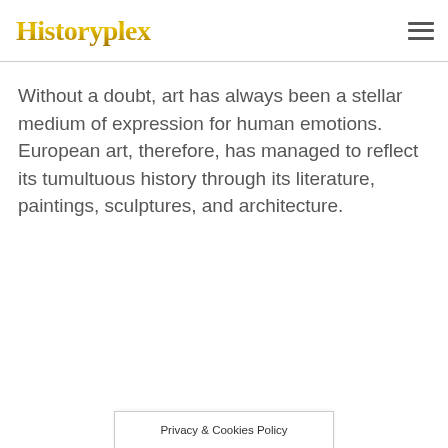Historyplex
Without a doubt, art has always been a stellar medium of expression for human emotions. European art, therefore, has managed to reflect its tumultuous history through its literature, paintings, sculptures, and architecture.
Privacy & Cookies Policy